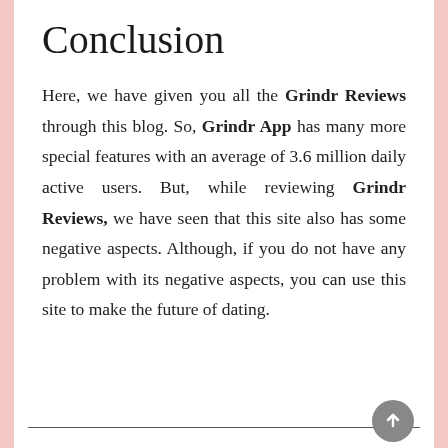Conclusion
Here, we have given you all the Grindr Reviews through this blog. So, Grindr App has many more special features with an average of 3.6 million daily active users. But, while reviewing Grindr Reviews, we have seen that this site also has some negative aspects. Although, if you do not have any problem with its negative aspects, you can use this site to make the future of dating.